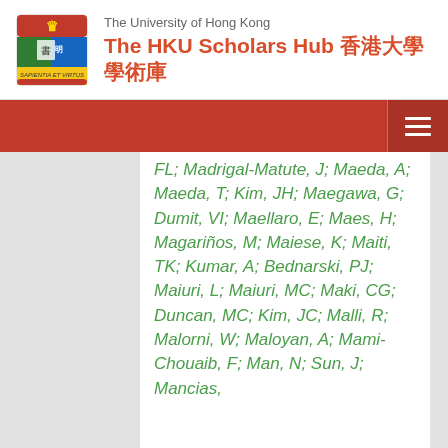The University of Hong Kong — The HKU Scholars Hub 香港大學學術庫
FL; Madrigal-Matute, J; Maeda, A; Maeda, T; Kim, JH; Maegawa, G; Dumit, VI; Maellaro, E; Maes, H; Magariños, M; Maiese, K; Maiti, TK; Kumar, A; Bednarski, PJ; Maiuri, L; Maiuri, MC; Maki, CG; Duncan, MC; Kim, JC; Malli, R; Malorni, W; Maloyan, A; Mami-Chouaib, F; Man, N; Sun, J; Mancias,